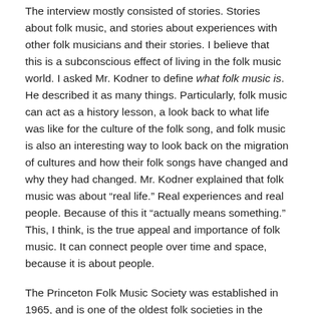The interview mostly consisted of stories. Stories about folk music, and stories about experiences with other folk musicians and their stories. I believe that this is a subconscious effect of living in the folk music world. I asked Mr. Kodner to define what folk music is. He described it as many things. Particularly, folk music can act as a history lesson, a look back to what life was like for the culture of the folk song, and folk music is also an interesting way to look back on the migration of cultures and how their folk songs have changed and why they had changed. Mr. Kodner explained that folk music was about “real life.” Real experiences and real people. Because of this it “actually means something.” This, I think, is the true appeal and importance of folk music. It can connect people over time and space, because it is about people.
The Princeton Folk Music Society was established in 1965, and is one of the oldest folk societies in the country. Justin Kodner joined in the late 70s. Members of the Society participate in monthly sing-ins, in which they go to a member’s house and sing, play, and share folk songs and traditions with each other. The Society also hosts monthly concerts of well-known folk singers for the public. Artists such as Mike Seeger, Priscilla Herdman, and Celtic Thunder have made appearances (sometimes more than once) to sing for the people of